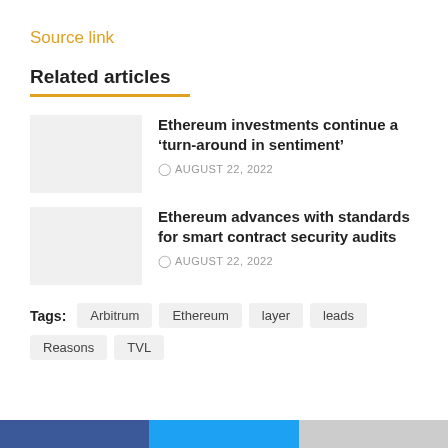Source link
Related articles
Ethereum investments continue a ‘turn-around in sentiment’
AUGUST 22, 2022
Ethereum advances with standards for smart contract security audits
AUGUST 22, 2022
Tags: Arbitrum  Ethereum  layer  leads  Reasons  TVL